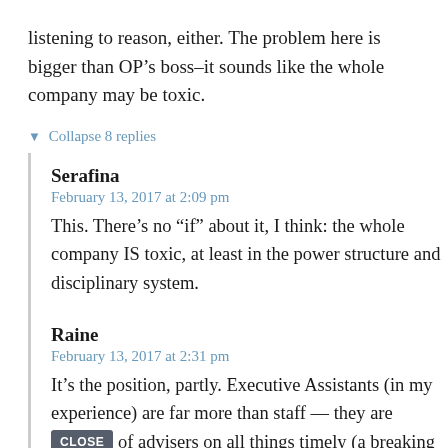listening to reason, either. The problem here is bigger than OP’s boss–it sounds like the whole company may be toxic.
▼ Collapse 8 replies
Serafina
February 13, 2017 at 2:09 pm
This. There’s no “if” about it, I think: the whole company IS toxic, at least in the power structure and disciplinary system.
Raine
February 13, 2017 at 2:31 pm
It’s the position, partly. Executive Assistants (in my experience) are far more than staff — they are kind of advisers on all things timely (a breaking news story a boss should be aware of when making a speech on a related